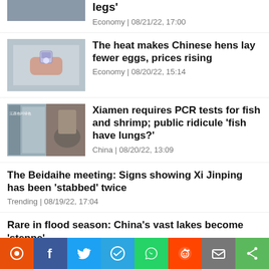[Figure (photo): Partial news item image at top, building/street scene]
legs'
Economy | 08/21/22, 17:00
[Figure (photo): Hand holding a thermometer gun]
The heat makes Chinese hens lay fewer eggs, prices rising
Economy | 08/20/22, 15:14
[Figure (photo): Two-panel image of fish PCR test scene]
Xiamen requires PCR tests for fish and shrimp; public ridicule 'fish have lungs?'
China | 08/20/22, 13:09
The Beidaihe meeting: Signs showing Xi Jinping has been 'stabbed' twice
Trending | 08/19/22, 17:04
Rare in flood season: China's vast lakes become 'steppe'
[Figure (infographic): Social sharing bar with icons: notification, Facebook, Twitter, Telegram, WhatsApp, Reddit, Mail, Share]